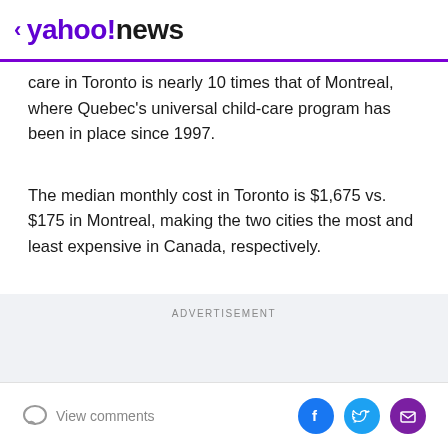< yahoo!news
care in Toronto is nearly 10 times that of Montreal, where Quebec's universal child-care program has been in place since 1997.
The median monthly cost in Toronto is $1,675 vs. $175 in Montreal, making the two cities the most and least expensive in Canada, respectively.
ADVERTISEMENT
View comments